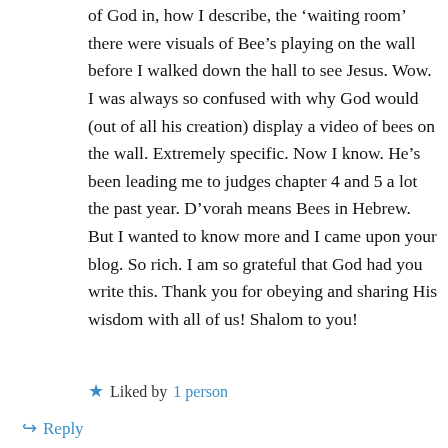of God in, how I describe, the 'waiting room' there were visuals of Bee's playing on the wall before I walked down the hall to see Jesus. Wow. I was always so confused with why God would (out of all his creation) display a video of bees on the wall. Extremely specific. Now I know. He's been leading me to judges chapter 4 and 5 a lot the past year. D'vorah means Bees in Hebrew. But I wanted to know more and I came upon your blog. So rich. I am so grateful that God had you write this. Thank you for obeying and sharing His wisdom with all of us! Shalom to you!
★ Liked by 1 person
↳ Reply